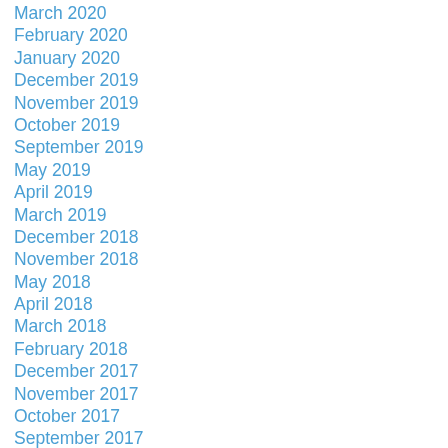March 2020
February 2020
January 2020
December 2019
November 2019
October 2019
September 2019
May 2019
April 2019
March 2019
December 2018
November 2018
May 2018
April 2018
March 2018
February 2018
December 2017
November 2017
October 2017
September 2017
May 2017